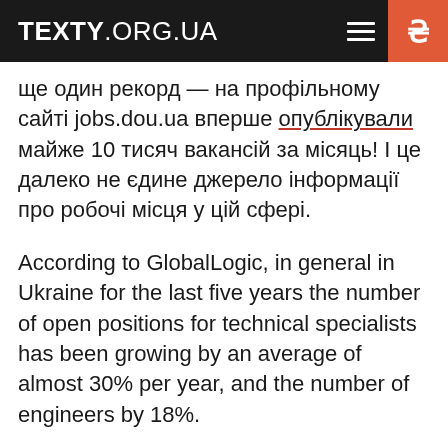TEXTY.ORG.UA
ще один рекорд — на профільному сайті jobs.dou.ua вперше опублікували майже 10 тисяч вакансій за місяць! І це далеко не єдине джерело інформації про робочі місця у цій сфері.
According to GlobalLogic, in general in Ukraine for the last five years the number of open positions for technical specialists has been growing by an average of almost 30% per year, and the number of engineers by 18%.
That is, more engineers are needed than are on the market.